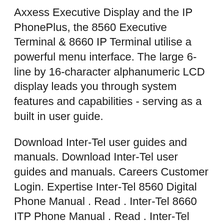Axxess Executive Display and the IP PhonePlus, the 8560 Executive Terminal & 8660 IP Terminal utilise a powerful menu interface. The large 6-line by 16-character alphanumeric LCD display leads you through system features and capabilities - serving as a built in user guide.
Download Inter-Tel user guides and manuals. Download Inter-Tel user guides and manuals. Careers Customer Login. Expertise Inter-Tel 8560 Digital Phone Manual . Read . Inter-Tel 8660 ITP Phone Manual . Read . Inter-Tel 8600 ITP Phone Manual . Read . Inter-Tel 8602 IP Softphone Manual . Page 1 Model 8560/8660 User Guide...; Page 3 UIDE